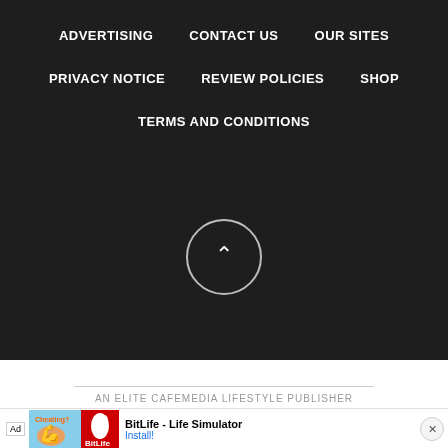ADVERTISING
CONTACT US
OUR SITES
PRIVACY NOTICE
REVIEW POLICIES
SHOP
TERMS AND CONDITIONS
[Figure (other): Circle button with upward chevron arrow for scroll to top]
AN ELITE CAFEMEDIA LIFESTYLE PUBLISHER
[Figure (other): Ad banner: BitLife - Life Simulator with Install button]